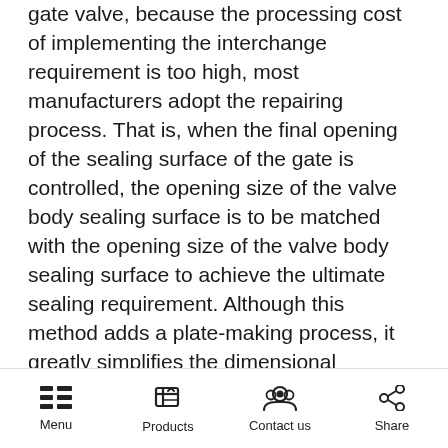gate valve, because the processing cost of implementing the interchange requirement is too high, most manufacturers adopt the repairing process. That is, when the final opening of the sealing surface of the gate is controlled, the opening size of the valve body sealing surface is to be matched with the opening size of the valve body sealing surface to achieve the ultimate sealing requirement. Although this method adds a plate-making process, it greatly simplifies the dimensional accuracy requirements of the previous processing steps, and the person skilled in the plate-making process is skillful to operate, and overall does not affect the production efficiency. Valve assembly process: The valve assembly is divided into the following
Menu | Products | Contact us | Share